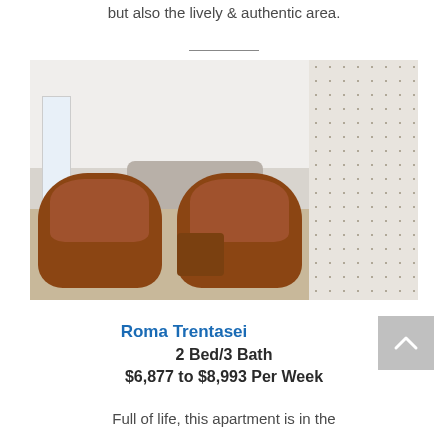but also the lively & authentic area.
[Figure (photo): Interior photo of a modern apartment living room with two brown leather armchairs, a wooden coffee table with a plant, a sofa in the background, large windows, and a decorative wall with a dotted pattern on the right side.]
Roma Trentasei
2 Bed/3 Bath
$6,877 to $8,993 Per Week
Full of life, this apartment is in the